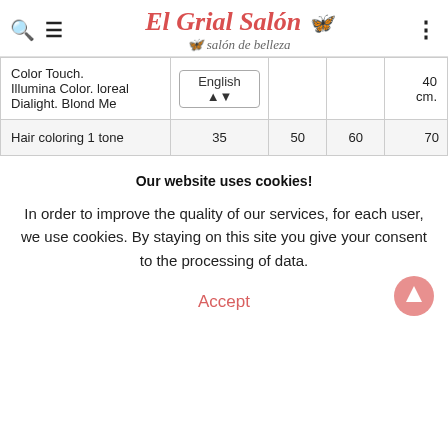El Grial Salón – salón de belleza
|  |  |  |  |  |
| --- | --- | --- | --- | --- |
| Color Touch. Illumina Color. loreal Dialight. Blond Me | English |  |  | 40 cm. |
| Hair coloring 1 tone | 35 | 50 | 60 | 70 |
Our website uses cookies!
In order to improve the quality of our services, for each user, we use cookies. By staying on this site you give your consent to the processing of data.
Accept